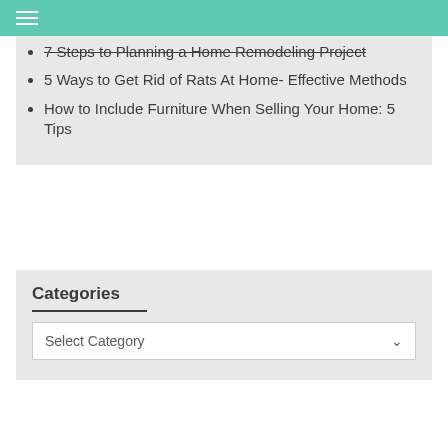7 Steps to Planning a Home Remodeling Project
5 Ways to Get Rid of Rats At Home- Effective Methods
How to Include Furniture When Selling Your Home: 5 Tips
Categories
Select Category